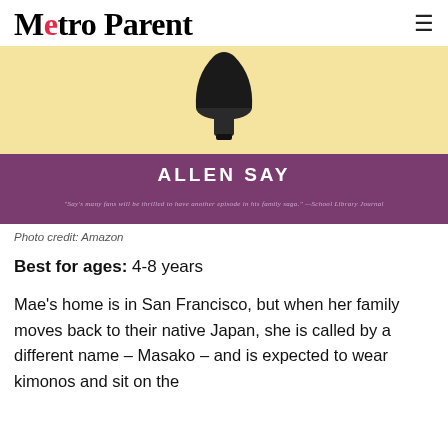Metro Parent
[Figure (photo): Book cover showing bottom of a shoe/boot above a cream/yellow background, with purple banner showing author name ALLEN SAY and review quote from School Library Journal]
Photo credit: Amazon
Best for ages: 4-8 years
Mae's home is in San Francisco, but when her family moves back to their native Japan, she is called by a different name – Masako – and is expected to wear kimonos and sit on the